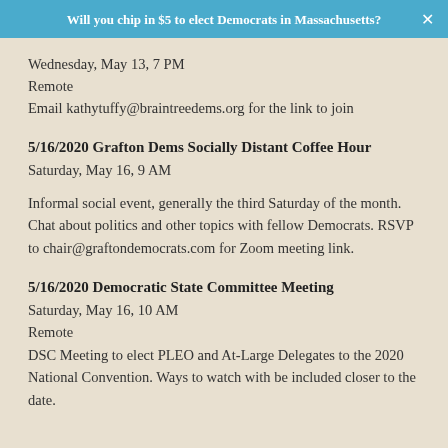Will you chip in $5 to elect Democrats in Massachusetts?
Wednesday, May 13, 7 PM
Remote
Email kathytuffy@braintreedems.org for the link to join
5/16/2020 Grafton Dems Socially Distant Coffee Hour
Saturday, May 16, 9 AM
Informal social event, generally the third Saturday of the month. Chat about politics and other topics with fellow Democrats. RSVP to chair@graftondemocrats.com for Zoom meeting link.
5/16/2020 Democratic State Committee Meeting
Saturday, May 16, 10 AM
Remote
DSC Meeting to elect PLEO and At-Large Delegates to the 2020 National Convention. Ways to watch with be included closer to the date.